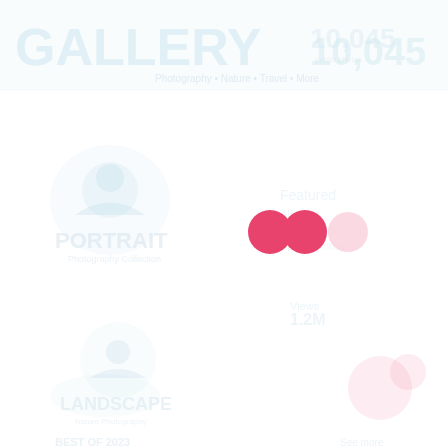[Figure (other): A loading or splash screen page with very faint watermark-style text and icons in light gray/white tones, featuring a Flickr-style logo with two circles (one pink/red, one light pink) in the center, along with faint decorative icons and text elements arranged across the page background.]